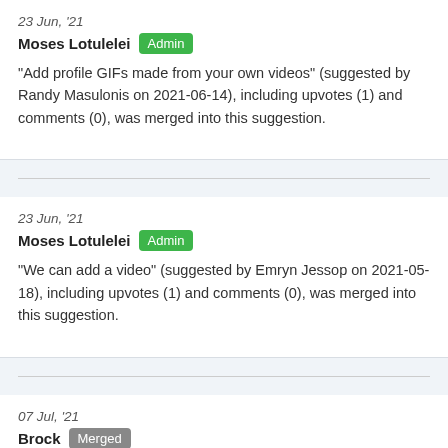23 Jun, '21
Moses Lotulelei Admin
"Add profile GIFs made from your own videos" (suggested by Randy Masulonis on 2021-06-14), including upvotes (1) and comments (0), was merged into this suggestion.
23 Jun, '21
Moses Lotulelei Admin
"We can add a video" (suggested by Emryn Jessop on 2021-05-18), including upvotes (1) and comments (0), was merged into this suggestion.
07 Jul, '21
Brock Merged
A quick video says so much more than a picture! This